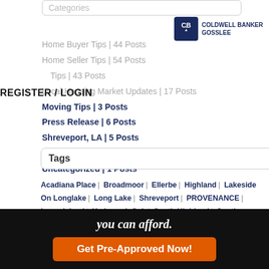Categories
[Figure (logo): Coldwell Banker Gosslee logo with CB star icon in dark blue square]
Home Buyer Tips | 44 Posts
Home Seller Tips | 54 Posts
REGISTER / LOGIN Tips | 43 Posts
Local Housing Market Updates | 17 Posts
Moving Tips | 3 Posts
Press Release | 6 Posts
Shreveport, LA | 5 Posts
Shreveport-Bossier City LA | 5 Posts
Uncategorized | 1 Posts
Tags
Acadiana Place | Broadmoor | Ellerbe | Highland | Lakeside On Longlake | Long Lake | Shreveport | PROVENANCE | hreve Island | Yarbrough Sub | South Highland | Southern race | Southern Hills | Spring Lake | Town South Estates | welve Oaks | University Terrace | WEST SHREVEPORT | Elm ve | STONEBRIDGE | North Bossier City | Northeast Bossier City | Central Bossier City | South Bossier City | Dixie Gardens
[Figure (photo): Live chat widget with female agent photo and Need Help? Click to Live Chat button]
you can afford.
Get Pre-Approved Now!